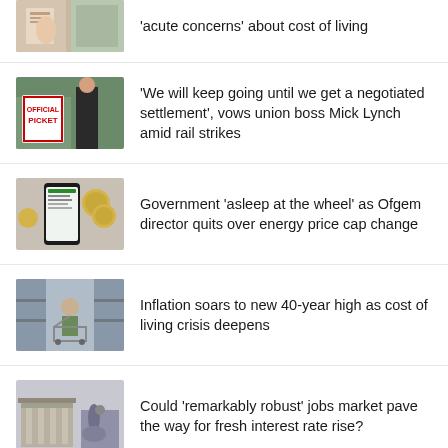'acute concerns' about cost of living
'We will keep going until we get a negotiated settlement', vows union boss Mick Lynch amid rail strikes
Government 'asleep at the wheel' as Ofgem director quits over energy price cap change
Inflation soars to new 40-year high as cost of living crisis deepens
Could 'remarkably robust' jobs market pave the way for fresh interest rate rise?
Workers suffer record pay slump in face of